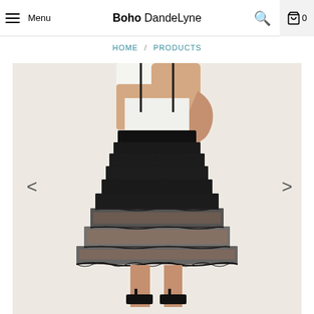Menu | Boho DandeLyne | Search | Cart 0
HOME / PRODUCTS
[Figure (photo): A model wearing a black tiered ruffle mesh skirt with a white top and black heeled sandals, displayed on an e-commerce product page with left and right navigation arrows.]